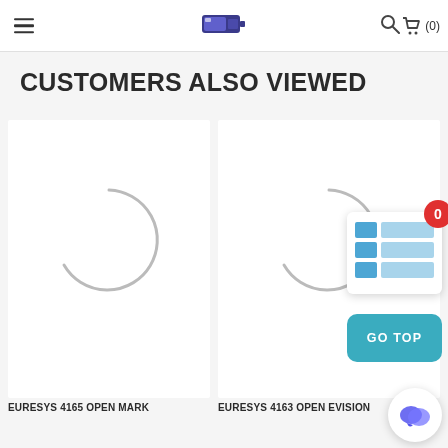Navigation bar with hamburger menu, logo, search icon, and cart (0)
CUSTOMERS ALSO VIEWED
[Figure (screenshot): Loading spinner arc for product 1 (EURESYS 4165 OPEN MARK)]
[Figure (screenshot): Loading spinner arc for product 2 (EURESYS 4163 OPEN EVISION)]
EURESYS 4165 OPEN MARK
EURESYS 4163 OPEN EVISION